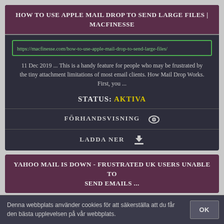HOW TO USE APPLE MAIL DROP TO SEND LARGE FILES | MACFINESSE
https://macfinesse.com/how-to-use-apple-mail-drop-to-send-large-files/
11 Dec 2019 ... This is a handy feature for people who may be frustrated by the tiny attachment limitations of most email clients. How Mail Drop Works. First, you ...
STATUS: AKTIVA
FÖRHANDSVISNING
LADDA NER
YAHOO MAIL IS DOWN - FRUSTRATED UK USERS UNABLE TO SEND EMAILS ...
Denna webbplats använder cookies för att säkerställa att du får den bästa upplevelsen på vår webbplats.